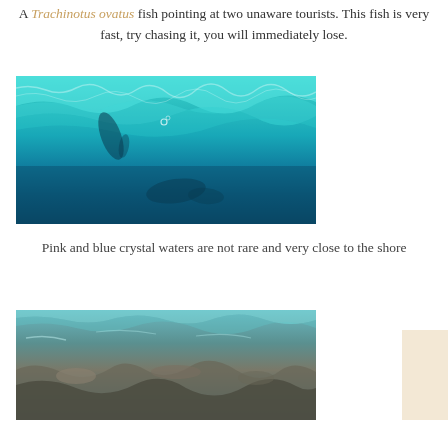A Trachinotus ovatus fish pointing at two unaware tourists. This fish is very fast, try chasing it, you will immediately lose.
[Figure (photo): Underwater photograph showing clear teal and blue water with light filtering from the surface, silhouettes of swimmers/tourists visible near the surface, and darker blue depths below.]
Pink and blue crystal waters are not rare and very close to the shore
[Figure (photo): Underwater photograph showing rocky seabed visible through crystal clear water near the shore, with teal and blue tones.]